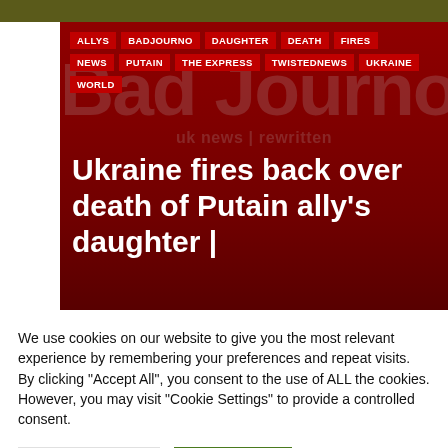[Figure (screenshot): Bad Journo website screenshot showing article tags (ALLYS, BADJOURNO, DAUGHTER, DEATH, FIRES, NEWS, PUTAIN, THE EXPRESS, TWISTEDNEWS, UKRAINE, WORLD), large watermark logo 'Bad Journo / uk news | rewritten', and article headline 'Ukraine fires back over death of Putain ally's daughter |' with date AUG 21, 2022]
Ukraine fires back over death of Putain ally's daughter |
AUG 21, 2022
We use cookies on our website to give you the most relevant experience by remembering your preferences and repeat visits. By clicking "Accept All", you consent to the use of ALL the cookies. However, you may visit "Cookie Settings" to provide a controlled consent.
Cookie Settings
Accept All